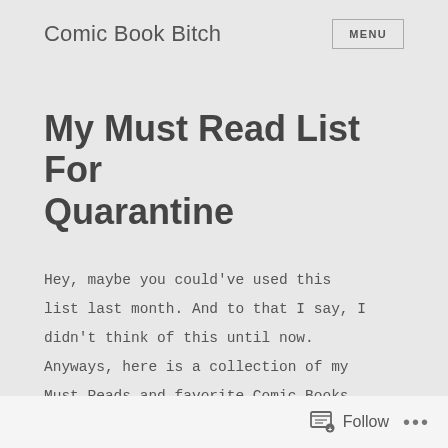Comic Book Bitch  MENU
My Must Read List For Quarantine
Hey, maybe you could've used this list last month. And to that I say, I didn't think of this until now. Anyways, here is a collection of my Must Reads and favorite Comic Books. I would say they're in order, but
Follow ...